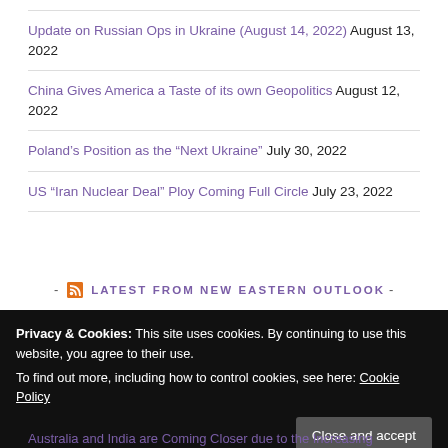Update on Russian Ops in Ukraine (August 14, 2022) August 13, 2022
China Gives America a Taste of its own Geopolitics August 12, 2022
Poland’s Position as the “Next Ukraine” July 30, 2022
US “Iran Nuclear Deal” Ploy Coming Full Circle July 23, 2022
- LATEST FROM NEW EASTERN OUTLOOK -
Privacy & Cookies: This site uses cookies. By continuing to use this website, you agree to their use.
To find out more, including how to control cookies, see here: Cookie Policy
Australia and India are Coming Closer due to the Increasing